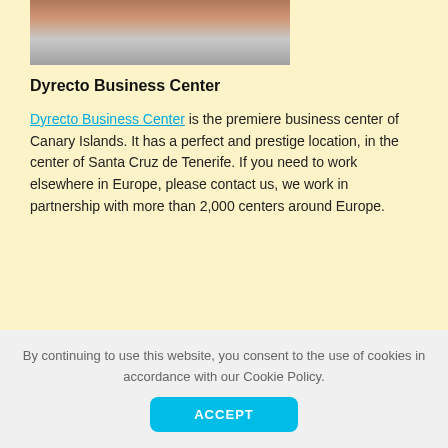[Figure (photo): Partial view of a street-level building exterior photo, cropped at top]
Dyrecto Business Center
Dyrecto Business Center is the premiere business center of Canary Islands. It has a perfect and prestige location, in the center of Santa Cruz de Tenerife. If you need to work elsewhere in Europe, please contact us, we work in partnership with more than 2,000 centers around Europe.
By continuing to use this website, you consent to the use of cookies in accordance with our Cookie Policy.
ACCEPT